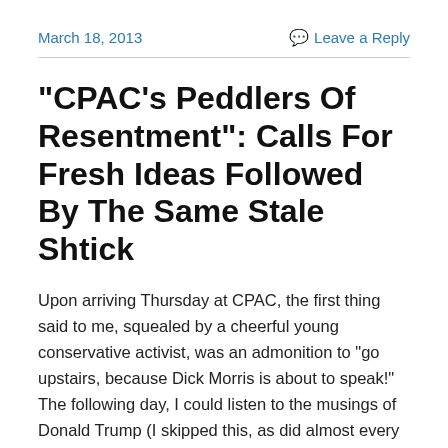March 18, 2013 | Leave a Reply
“CPAC’s Peddlers Of Resentment”: Calls For Fresh Ideas Followed By The Same Stale Shtick
Upon arriving Thursday at CPAC, the first thing said to me, squealed by a cheerful young conservative activist, was an admonition to “go upstairs, because Dick Morris is about to speak!” The following day, I could listen to the musings of Donald Trump (I skipped this, as did almost every other attendee). And Saturday, to end on a rousing